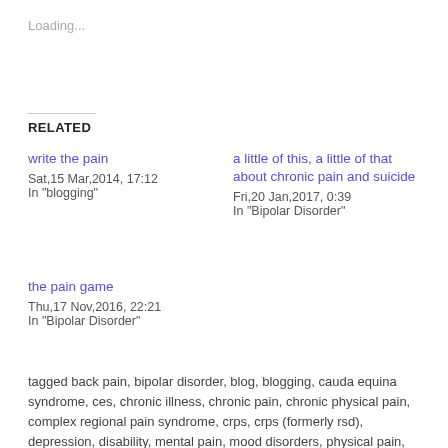Loading...
RELATED
write the pain
Sat,15 Mar,2014, 17:12
In "blogging"
a little of this, a little of that about chronic pain and suicide
Fri,20 Jan,2017, 0:39
In "Bipolar Disorder"
the pain game
Thu,17 Nov,2016, 22:21
In "Bipolar Disorder"
tagged back pain, bipolar disorder, blog, blogging, cauda equina syndrome, ces, chronic illness, chronic pain, chronic physical pain, complex regional pain syndrome, crps, crps (formerly rsd), depression, disability, mental pain, mood disorders, physical pain,